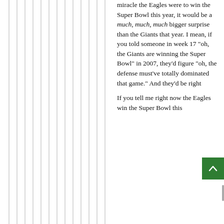[Figure (illustration): Decorative vertical grey lines on the left half of the page]
miracle the Eagles were to win the Super Bowl this year, it would be a much, much, much bigger surprise than the Giants that year. I mean, if you told someone in week 17 "oh, the Giants are winning the Super Bowl" in 2007, they'd figure "oh, the defense must've totally dominated that game." And they'd be right
If you tell me right now the Eagles win the Super Bowl this